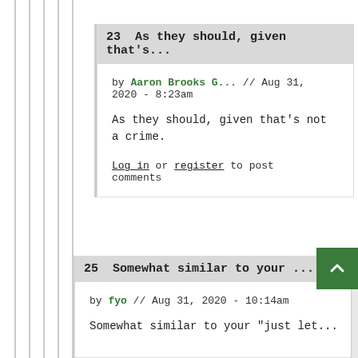23  As they should, given that's...
by Aaron Brooks G... // Aug 31, 2020 - 8:23am
As they should, given that's not a crime.
Log in or register to post comments
25  Somewhat similar to your ...
by fyo // Aug 31, 2020 - 10:14am
Somewhat similar to your "just let...